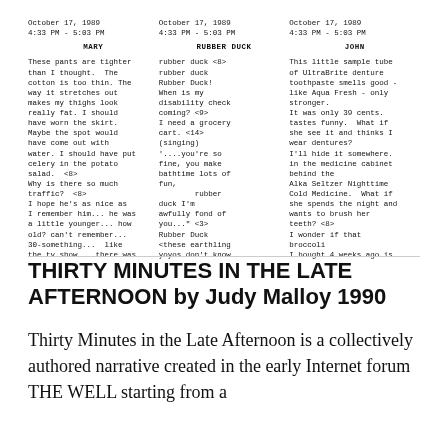October 17, 1989
4:33 PM - 5:03 PM

MARY

These pants are tighter
than I thought.  The
cotton is too thin. The
way it stretches out
makes my thighs look
really fat. I should
have worn the skirt.
Maybe the spot would
have come out with
water. I should have put
celery in the potato
salad.  <8>
Why is there so much
traffic?  <8>
I hope he's as nice as
I remember him... he was
a little younger... how
old? can't remember...
30-something...  like
the tv show... there was
October 17, 1989
4:33 PM - 5:03 PM

RUBBER DUCK

rubber duck <8>
rubber duck
Rubber Duck!
When is my
disability check
coming? <9>
I need a grocery
cart. <14>
(singing)
'....you're so
fine, you make
bathtime lots of
fun,
        rubber
duck I'm
awfully fond of
you..." <3>
Rubber Duck
<these earthling
yoyos don't know
October 17, 1989
4:33 PM - 5:03 PM

JOHN

This little sample tube
of UltraBrite denture
toothpaste smells good -
like Aqua Fresh - only
stronger.
It was only 39 cents.
tastes funny.  What if
she see it and thinks I
wear dentures?
I'll hide it somewhere.
in the medicine cabinet
behind the
Alka Seltzer Nighttime
Cold Medicine.  What if
she spends the night and
wants to brush her
teeth? <8>
I wonder if that
broccoli
I bought 4 weeks ago is
THIRTY MINUTES IN THE LATE AFTERNOON by Judy Malloy 1990
Thirty Minutes in the Late Afternoon is a collectively authored narrative created in the early Internet forum THE WELL starting from a